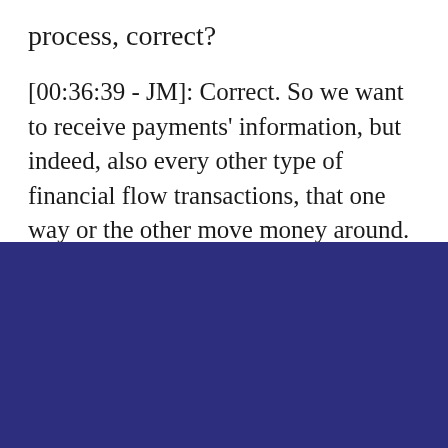process, correct?
[00:36:39 - JM]: Correct. So we want to receive payments' information, but indeed, also every other type of financial flow transactions, that one way or the other move money around. That can be outbound transactions from their merchants'
Try our Fraud Detection solution!
Our exclusive Proof-of-Results (PoR) process lets you test our Fraud Detection solution. Obtain live results in the context of your company.
Try free!